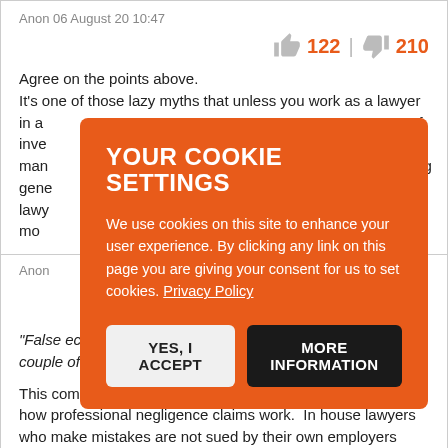Anon 06 August 20 10:47
122  210
Agree on the points above.
It's one of those lazy myths that unless you work as a lawyer in a [...]
[Figure (infographic): Cookie consent overlay on orange background with title YOUR COOKIE SETTINGS, body text, and two buttons: YES, I ACCEPT and MORE INFORMATION]
Anon [...]
113  224
“False economy. Look forward to the prof neg claims in a couple of years when the errors come to fruition.”
This comment shows a total lack of understanding about how professional negligence claims work.  In house lawyers who make mistakes are not sued by their own employers